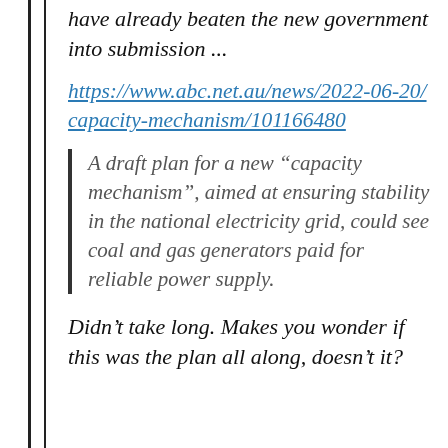have already beaten the new government into submission ...
https://www.abc.net.au/news/2022-06-20/capacity-mechanism/101166480
A draft plan for a new “capacity mechanism”, aimed at ensuring stability in the national electricity grid, could see coal and gas generators paid for reliable power supply.
Didn’t take long. Makes you wonder if this was the plan all along, doesn’t it?